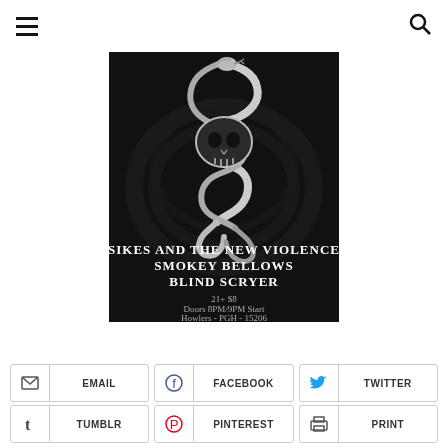[Figure (illustration): Dark concert poster on black background featuring a skull wrapped in serpents/snakes with ornate decorative elements. Text on poster reads: SIKES AND THE NEW VIOLENCE / SMOKEY BELLOWS / BLIND SCRYER / 21+ $8 / Doors 8PM/9PM Start / Howlers - PGH - 15206]
EMAIL
FACEBOOK
TWITTER
TUMBLR
PINTEREST
PRINT